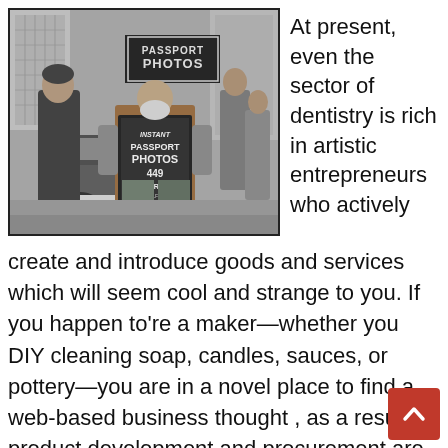[Figure (photo): Black and white street photograph of an elderly bearded man carrying a sandwich board sign reading 'Instant Passport Photos, 449 Oxford St.' A younger man walks beside him. Urban street scene with a car (license plate JUC 596) visible. People in the background. City buildings visible.]
At present, even the sector of dentistry is rich in artistic entrepreneurs who actively create and introduce goods and services which will seem cool and strange to you. If you happen to're a maker—whether you DIY cleaning soap, candles, sauces, or pottery—you are in a novel place to find a web-based business thought , as a result of product development and procurement are literally in
[Figure (other): Red scroll-to-top button with upward arrow chevron icon]